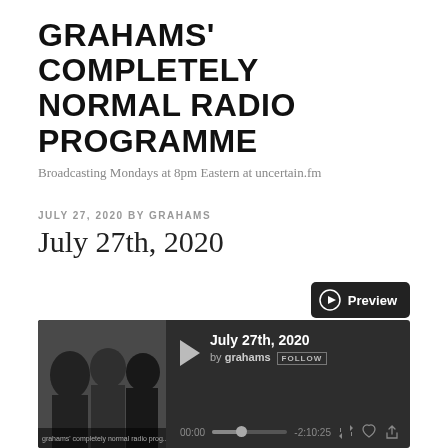GRAHAMS' COMPLETELY NORMAL RADIO PROGRAMME
Broadcasting Mondays at 8pm Eastern at uncertain.fm
JULY 27, 2020 BY GRAHAMS
July 27th, 2020
[Figure (screenshot): Audio player widget showing a black-and-white photo of three people, a play button, track title 'July 27th, 2020', by grahams with FOLLOW button, timestamp 00:00, progress bar, and -2:10:25 remaining, with repeat, like, and share icons. Above the player is a dark Preview button with play icon.]